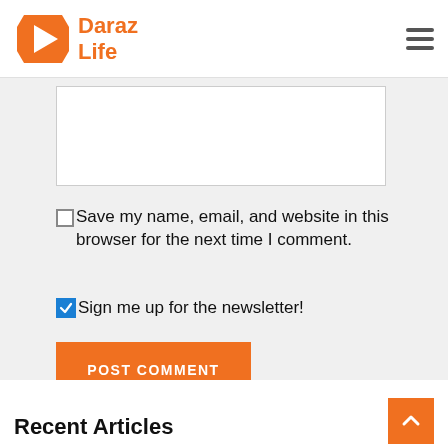[Figure (logo): Daraz Life logo with orange geometric arrow icon and orange text reading 'Daraz Life']
Save my name, email, and website in this browser for the next time I comment.
Sign me up for the newsletter!
POST COMMENT
Recent Articles